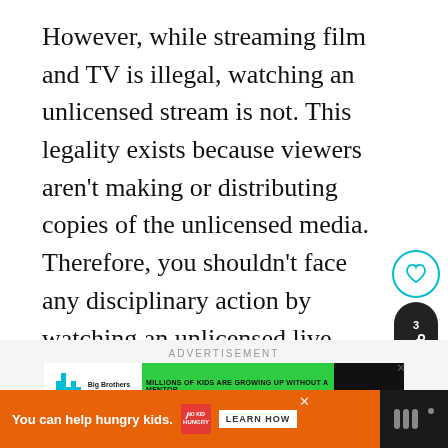However, while streaming film and TV is illegal, watching an unlicensed stream is not. This legality exists because viewers aren't making or distributing copies of the unlicensed media. Therefore, you shouldn't face any disciplinary action by watching an unlicensed live stream of a film or show.
[Figure (other): Social interaction buttons: a circular heart/like button with cyan border, and a dark pill-shaped share button with the number 3 and a share icon]
ADVERTISEMENT
[Figure (other): Big Brothers Big Sisters advertisement banner on green background: 'MILLIONS OF KIDS ARE GROWING UP WITHOUT A MENTOR — BECOME A BIG TODAY — Learn How']
[Figure (other): Bottom advertisement bar: orange background with text 'You can help hungry kids.' No Kid Hungry logo and 'LEARN HOW' button, with dark right side showing a stylized W logo]